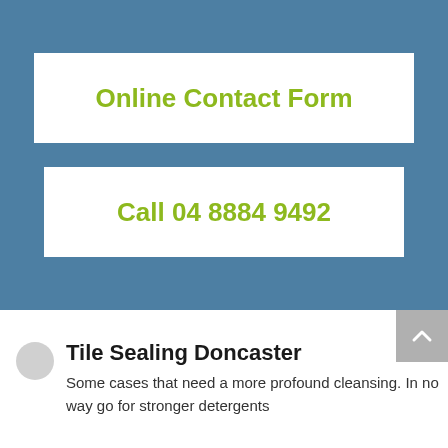Online Contact Form
Call 04 8884 9492
Tile Sealing Doncaster
Some cases that need a more profound cleansing. In no way go for stronger detergents